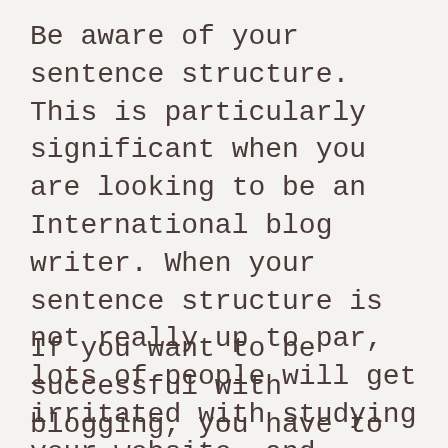Be aware of your sentence structure. This is particularly significant when you are looking to be an International blog writer. When your sentence structure is not really up to par, lots of people will get irritated with studying your website, and believe you are not creditable. There are several plans which you can use to work a grammar check, and you ought to accomplish this with each and every entrance.
If you want to be successful with blogging, you have to be sure that you know what you are actually performing. Take some time prior to starting your site